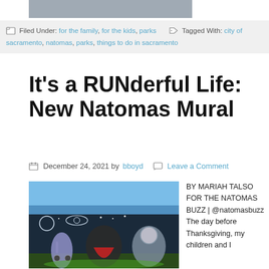[Figure (photo): Partial top crop of a photo, bottom edge visible]
Filed Under: for the family, for the kids, parks Tagged With: city of sacramento, natomas, parks, things to do in sacramento
It's a RUNderful Life: New Natomas Mural
December 24, 2021 by bboyd  Leave a Comment
[Figure (photo): Colorful mural on a wall depicting children as superheroes and astronauts against a space-themed background with bright blues, greens, and dark colors]
BY MARIAH TALSO FOR THE NATOMAS BUZZ | @natomasbuzz The day before Thanksgiving, my children and I